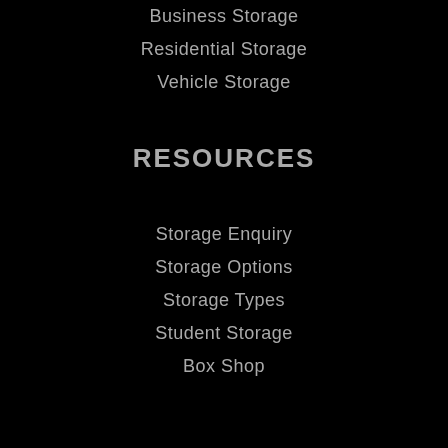Business Storage
Residential Storage
Vehicle Storage
RESOURCES
Storage Enquiry
Storage Options
Storage Types
Student Storage
Box Shop